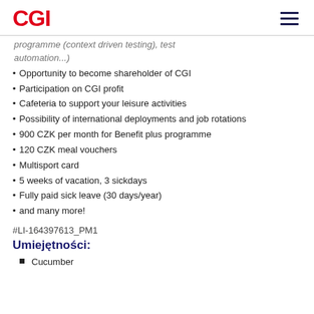CGI
programme (context driven testing), test automation...)
Opportunity to become shareholder of CGI
Participation on CGI profit
Cafeteria to support your leisure activities
Possibility of international deployments and job rotations
900 CZK per month for Benefit plus programme
120 CZK meal vouchers
Multisport card
5 weeks of vacation, 3 sickdays
Fully paid sick leave (30 days/year)
and many more!
#LI-164397613_PM1
Umiejętności:
Cucumber